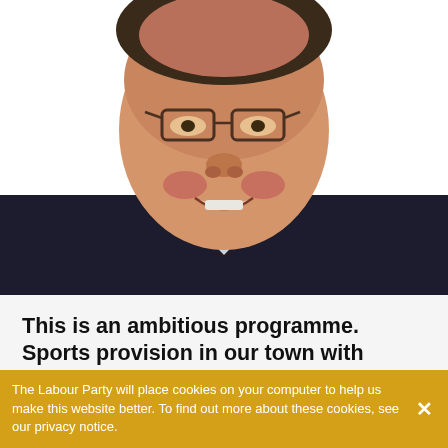[Figure (photo): Close-up photo of a smiling man wearing glasses and a dark suit jacket with a collared shirt, white background, cropped to show face and upper chest]
This is an ambitious programme. Sports provision in our town with state-of-the-art modern new, carbon neutral, facilities that everyone in Ipswich can be proud of.
13 Jun 2022
It sometimes comes as a shock to realise Ipswich Borough Council's sports facilities – which...
The Labour Party will place cookies on your computer to help us make this website better. To find out more about these cookies, see our privacy notice.